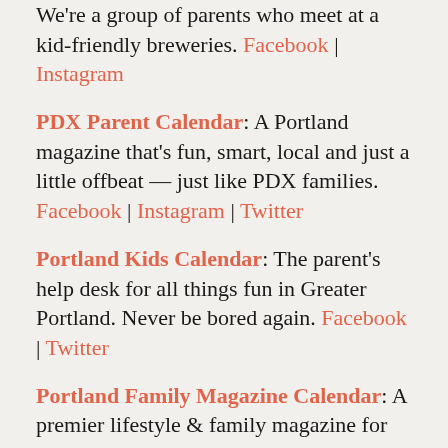We're a group of parents who meet at a kid-friendly breweries. Facebook | Instagram
PDX Parent Calendar: A Portland magazine that's fun, smart, local and just a little offbeat — just like PDX families. Facebook | Instagram | Twitter
Portland Kids Calendar: The parent's help desk for all things fun in Greater Portland. Never be bored again. Facebook | Twitter
Portland Family Magazine Calendar: A premier lifestyle & family magazine for Portland. Facebook | Twitter